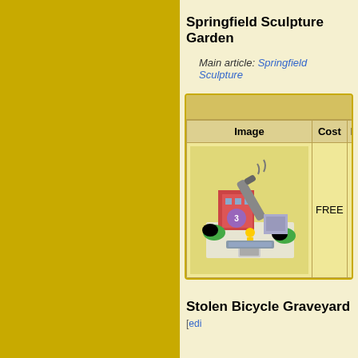Springfield Sculpture Garden
Main article: Springfield Sculpture
| Image | Cost | Rew |
| --- | --- | --- |
| [game image] | FREE | N/ |
Stolen Bicycle Graveyard [edit]